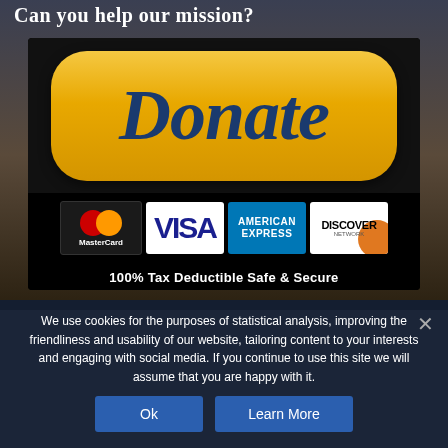Can you help our mission?
[Figure (illustration): Donate button with PayPal-style golden rounded rectangle, credit card logos (MasterCard, Visa, American Express, Discover), and text '100% Tax Deductible Safe & Secure']
We use cookies for the purposes of statistical analysis, improving the friendliness and usability of our website, tailoring content to your interests and engaging with social media. If you continue to use this site we will assume that you are happy with it.
Ok
Learn More